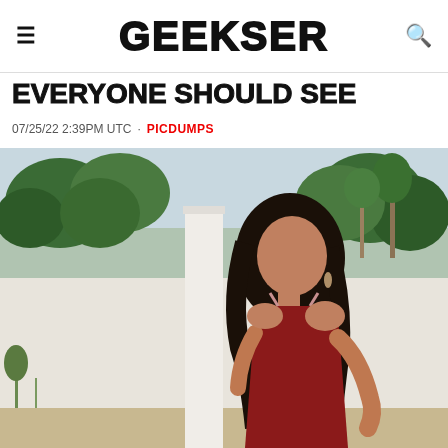GEEKSER
EVERYONE SHOULD SEE
07/25/22 2:39PM UTC · PICDUMPS
[Figure (photo): Young woman with long dark wavy hair wearing a red satin spaghetti-strap dress, posing outdoors near a white pillar with greenery and a white wall in the background.]